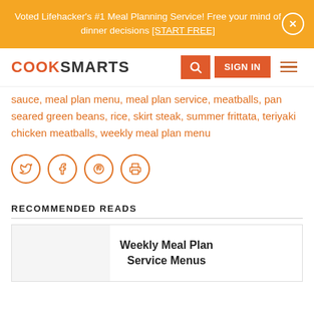Voted Lifehacker's #1 Meal Planning Service! Free your mind of dinner decisions [START FREE]
[Figure (logo): Cook Smarts logo with navigation bar including search button, sign in button, and hamburger menu]
sauce, meal plan menu, meal plan service, meatballs, pan seared green beans, rice, skirt steak, summer frittata, teriyaki chicken meatballs, weekly meal plan menu
[Figure (other): Social share icons: Twitter, Facebook, Pinterest, Print]
RECOMMENDED READS
Weekly Meal Plan Service Menus